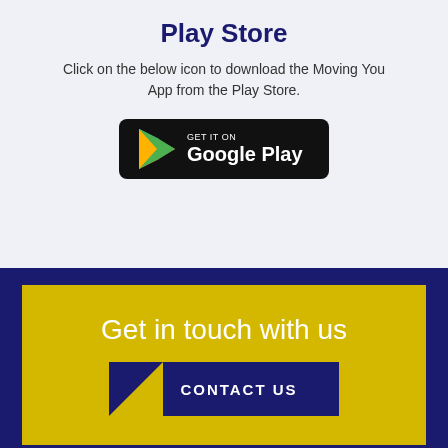Play Store
Click on the below icon to download the Moving You App from the Play Store.
[Figure (logo): Google Play Store download badge — black rounded rectangle with colorful play triangle and 'GET IT ON Google Play' text]
Get in touch with us
CONTACT US